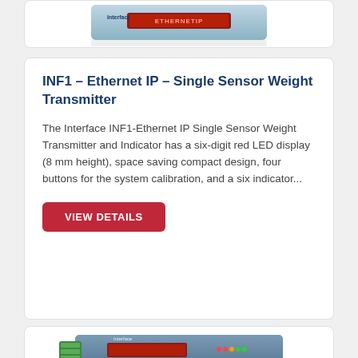[Figure (photo): Top portion of a device/product image, cropped at top of page]
INF1 – Ethernet IP – Single Sensor Weight Transmitter
The Interface INF1-Ethernet IP Single Sensor Weight Transmitter and Indicator has a six-digit red LED display (8 mm height), space saving compact design, four buttons for the system calibration, and a six indicator...
[Figure (other): VIEW DETAILS button (red rounded rectangle with white bold text)]
[Figure (photo): Bottom portion showing a blue industrial Ethernet TCP/IP weight transmitter device with green terminal connectors, partially cropped at bottom of page]